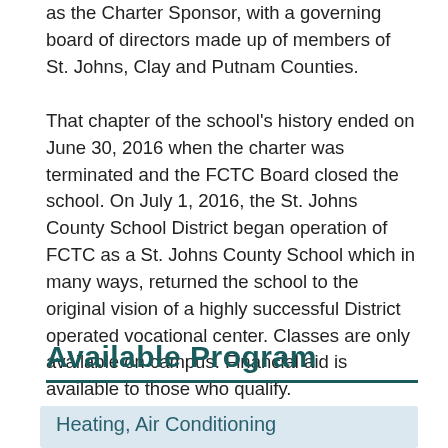as the Charter Sponsor, with a governing board of directors made up of members of St. Johns, Clay and Putnam Counties.
That chapter of the school's history ended on June 30, 2016 when the charter was terminated and the FCTC Board closed the school. On July 1, 2016, the St. Johns County School District began operation of FCTC as a St. Johns County School which in many ways, returned the school to the original vision of a highly successful District operated vocational center. Classes are only available on campus. Financial aid is available to those who qualify.
Available Program
Heating, Air Conditioning